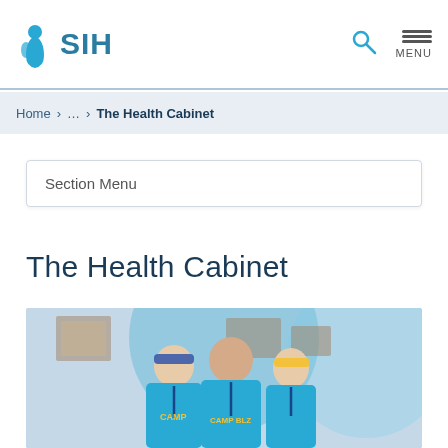SIH
Home > ... > The Health Cabinet
Section Menu
The Health Cabinet
[Figure (photo): Three people wearing blue Camp t-shirts and lanyards, smiling, standing in front of a blue circle graphic on a wall with framed pictures in the background.]